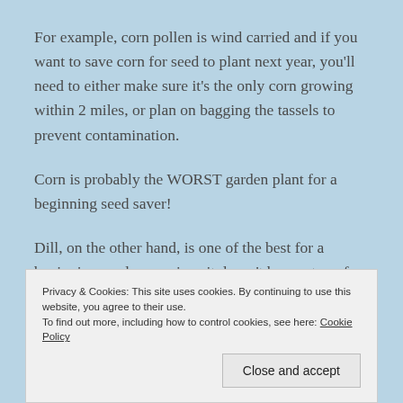For example, corn pollen is wind carried and if you want to save corn for seed to plant next year, you'll need to either make sure it's the only corn growing within 2 miles, or plan on bagging the tassels to prevent contamination.
Corn is probably the WORST garden plant for a beginning seed saver!
Dill, on the other hand, is one of the best for a beginning seed saver since it doesn't have a ton of
Privacy & Cookies: This site uses cookies. By continuing to use this website, you agree to their use.
To find out more, including how to control cookies, see here: Cookie Policy
saver. Both leaf and head varieties can be sown in